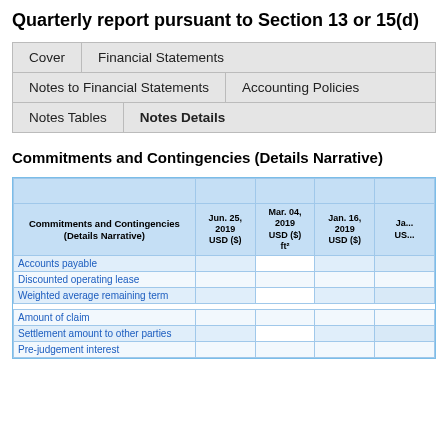Quarterly report pursuant to Section 13 or 15(d)
Cover
Financial Statements
Notes to Financial Statements
Accounting Policies
Notes Tables
Notes Details
Commitments and Contingencies (Details Narrative)
| Commitments and Contingencies (Details Narrative) | Jun. 25, 2019 USD ($) | Mar. 04, 2019 USD ($) ft² | Jan. 16, 2019 USD ($) | Ja... USD (... |
| --- | --- | --- | --- | --- |
| Accounts payable |  |  |  |  |
| Discounted operating lease |  |  |  |  |
| Weighted average remaining term |  |  |  |  |
| Amount of claim |  |  |  |  |
| Settlement amount to other parties |  |  |  |  |
| Pre-judgement interest |  |  |  |  |